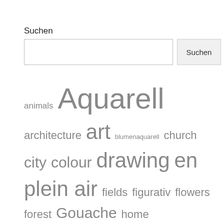Suchen
[Figure (screenshot): Search input box with a 'Suchen' button]
animals Aquarell architecture art blumenaquarell church city colour drawing en plein air fields figurativ flowers forest Gouache home illustrated-journaling Inspirationsquellen Kleines Format Landscape light Lüneburg Material mixed media Nachdenken/ Thoughts nature Oil onlinemalen painting people Podcast river Schottland